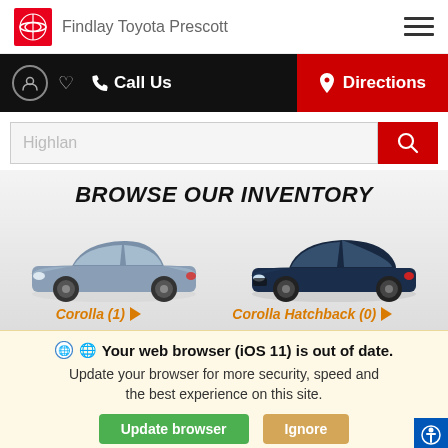Findlay Toyota Prescott
Call Us | Directions
Highlan
BROWSE OUR INVENTORY
[Figure (photo): Two Toyota cars side by side: a silver/gray Toyota Corolla sedan on the left and a dark blue Toyota Corolla Hatchback on the right]
Corolla (1) ▶  Corolla Hatchback (0) ▶
🌐 Your web browser (iOS 11) is out of date. Update your browser for more security, speed and the best experience on this site.
Update browser   Ignore